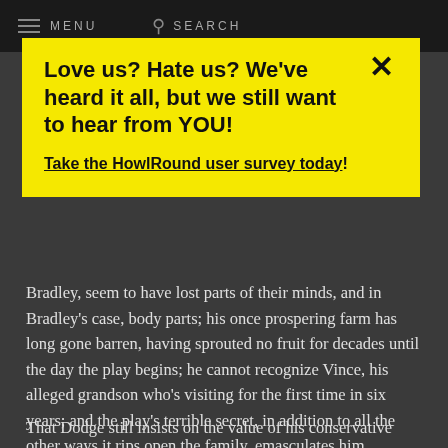MENU   SEARCH
...and Bradley, seem to have lost parts of their minds, and in Bradley's case, body parts; his once prospering farm has long gone barren, having sprouted no fruit for decades until the day the play begins; he cannot recognize Vince, his alleged grandson who's visiting for the first time in six years; and the play's terrible secret, in addition to all the other ways it rips open the family, emasculates him.
That Dodge still insists on the value of his conservative norms
[Figure (other): Yellow banner overlay with close button (X), bold headline 'Love us? Hate us? We've heard it all, but we still want to hear from YOU!' and underlined link 'Take the HowlRound user survey today!']